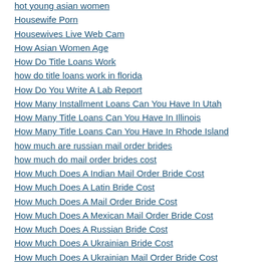hot young asian women (partial)
Housewife Porn
Housewives Live Web Cam
How Asian Women Age
How Do Title Loans Work
how do title loans work in florida
How Do You Write A Lab Report
How Many Installment Loans Can You Have In Utah
How Many Title Loans Can You Have In Illinois
How Many Title Loans Can You Have In Rhode Island
how much are russian mail order brides
how much do mail order brides cost
How Much Does A Indian Mail Order Bride Cost
How Much Does A Latin Bride Cost
How Much Does A Mail Order Bride Cost
How Much Does A Mexican Mail Order Bride Cost
How Much Does A Russian Bride Cost
How Much Does A Ukrainian Bride Cost
How Much Does A Ukrainian Mail Order Bride Cost